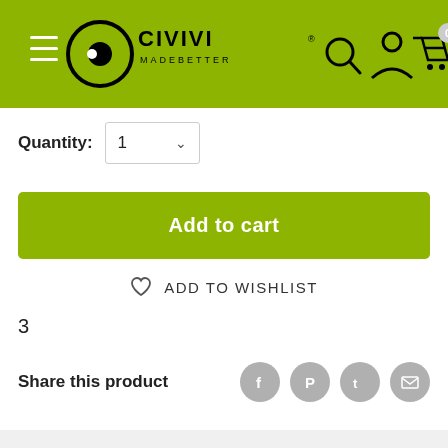[Figure (screenshot): CIVIVI brand navigation bar with hamburger menu, logo, search icon, account icon, and cart icon with badge showing 0]
Quantity: 1
Add to cart
ADD TO WISHLIST
3
Share this product